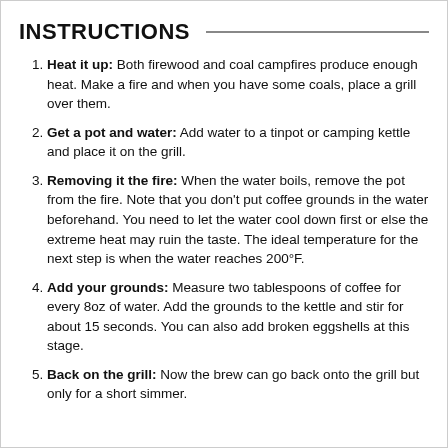INSTRUCTIONS
Heat it up: Both firewood and coal campfires produce enough heat. Make a fire and when you have some coals, place a grill over them.
Get a pot and water: Add water to a tinpot or camping kettle and place it on the grill.
Removing it the fire: When the water boils, remove the pot from the fire. Note that you don't put coffee grounds in the water beforehand. You need to let the water cool down first or else the extreme heat may ruin the taste. The ideal temperature for the next step is when the water reaches 200°F.
Add your grounds: Measure two tablespoons of coffee for every 8oz of water. Add the grounds to the kettle and stir for about 15 seconds. You can also add broken eggshells at this stage.
Back on the grill: Now the brew can go back onto the grill but only for a short simmer.